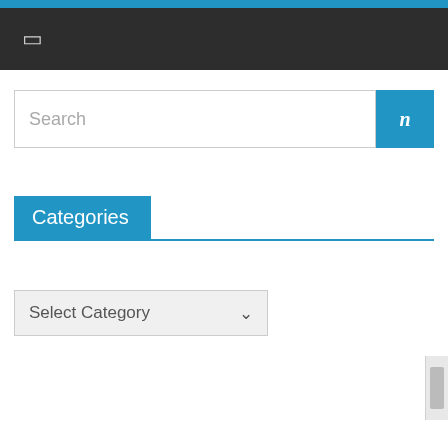Search
Categories
Select Category